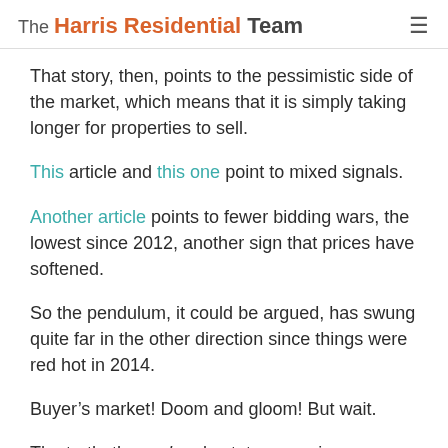The Harris Residential Team
That story, then, points to the pessimistic side of the market, which means that it is simply taking longer for properties to sell.
This article and this one point to mixed signals.
Another article points to fewer bidding wars, the lowest since 2012, another sign that prices have softened.
So the pendulum, it could be argued, has swung quite far in the other direction since things were red hot in 2014.
Buyer’s market! Doom and gloom! But wait.
The truth, the real real estate news, is somewhere